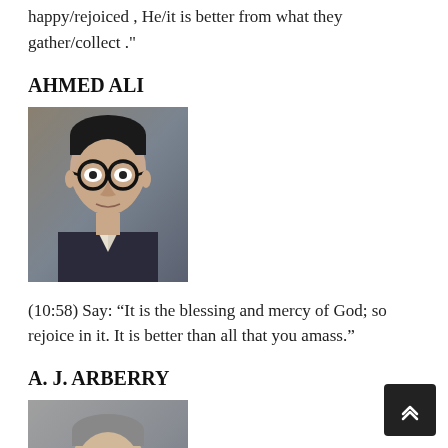happy/rejoiced , He/it is better from what they gather/collect ."
AHMED ALI
[Figure (photo): Black and white portrait photo of Ahmed Ali wearing thick-rimmed glasses and a suit]
(10:58) Say: “It is the blessing and mercy of God; so rejoice in it. It is better than all that you amass.”
A. J. ARBERRY
[Figure (photo): Black and white portrait photo of A. J. Arberry wearing glasses and a suit with a small mustache]